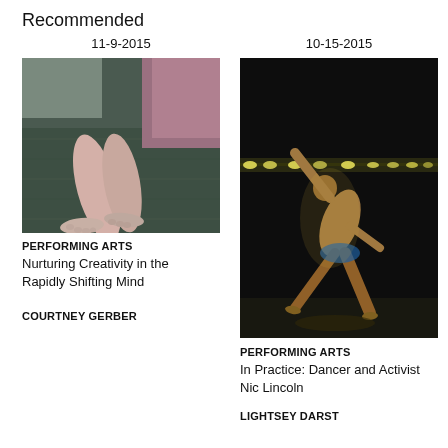Recommended
11-9-2015
[Figure (photo): Close-up photograph of bare feet and lower legs resting on a dark green carpet, with a mauve/purple fabric visible in the background.]
PERFORMING ARTS
Nurturing Creativity in the Rapidly Shifting Mind
COURTNEY GERBER
10-15-2015
[Figure (photo): Stage performance photograph of a dancer leaning dramatically to the side with one arm raised high, against a dark background with bright stage lights in a row behind.]
PERFORMING ARTS
In Practice: Dancer and Activist Nic Lincoln
LIGHTSEY DARST